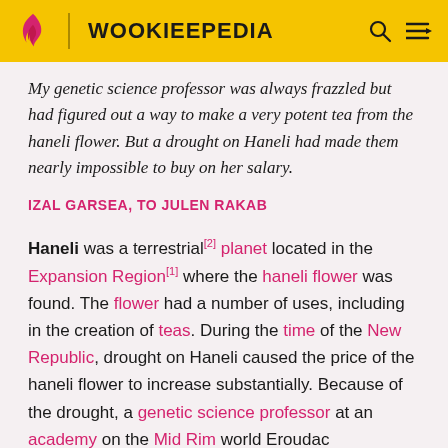WOOKIEEPEDIA
My genetic science professor was always frazzled but had figured out a way to make a very potent tea from the haneli flower. But a drought on Haneli had made them nearly impossible to buy on her salary.
IZAL GARSEA, TO JULEN RAKAB
Haneli was a terrestrial[2] planet located in the Expansion Region[1] where the haneli flower was found. The flower had a number of uses, including in the creation of teas. During the time of the New Republic, drought on Haneli caused the price of the haneli flower to increase substantially. Because of the drought, a genetic science professor at an academy on the Mid Rim world Eroudac